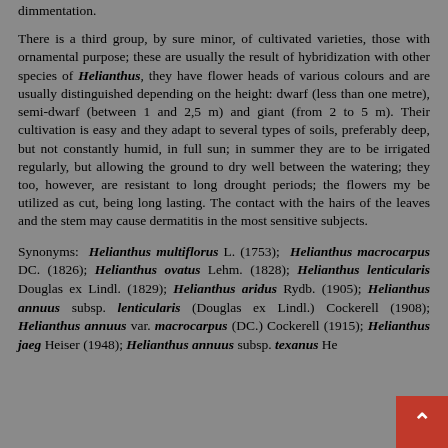dimmentation.
There is a third group, by sure minor, of cultivated varieties, those with ornamental purpose; these are usually the result of hybridization with other species of Helianthus, they have flower heads of various colours and are usually distinguished depending on the height: dwarf (less than one metre), semi-dwarf (between 1 and 2,5 m) and giant (from 2 to 5 m). Their cultivation is easy and they adapt to several types of soils, preferably deep, but not constantly humid, in full sun; in summer they are to be irrigated regularly, but allowing the ground to dry well between the watering; they too, however, are resistant to long drought periods; the flowers my be utilized as cut, being long lasting. The contact with the hairs of the leaves and the stem may cause dermatitis in the most sensitive subjects.
Synonyms: Helianthus multiflorus L. (1753); Helianthus macrocarpus DC. (1826); Helianthus ovatus Lehm. (1828); Helianthus lenticularis Douglas ex Lindl. (1829); Helianthus aridus Rydb. (1905); Helianthus annuus subsp. lenticularis (Douglas ex Lindl.) Cockerell (1908); Helianthus annuus var. macrocarpus (DC.) Cockerell (1915); Helianthus jaeg… Heiser (1948); Helianthus annuus subsp. texanus He…